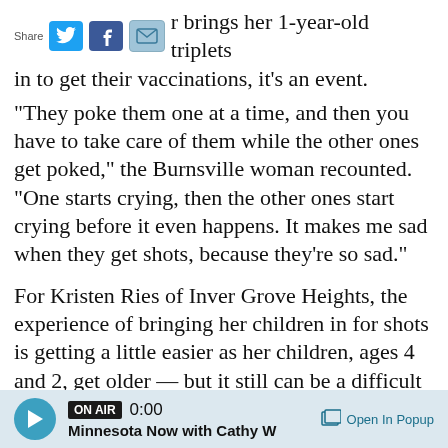Share [Twitter] [Facebook] [Email] r brings her 1-year-old triplets in to get their vaccinations, it's an event.
“They poke them one at a time, and then you have to take care of them while the other ones get poked,” the Burnsville woman recounted. “One starts crying, then the other ones start crying before it even happens. It makes me sad when they get shots, because they’re so sad.”
For Kristen Ries of Inver Grove Heights, the experience of bringing her children in for shots is getting a little easier as her children, ages 4 and 2, get older — but it still can be a difficult experience.
“Th… [partially visible text]
ON AIR 0:00 Minnesota Now with Cathy W  Open In Popup